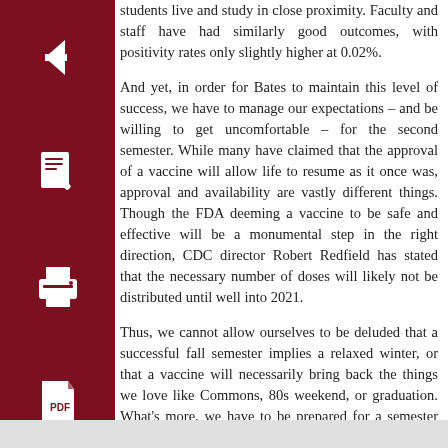[Figure (other): Dark red back navigation button with left arrow icon]
[Figure (other): Dark red edit/compose button with pencil icon]
[Figure (other): Dark red print button with printer icon]
[Figure (other): Dark red PDF document button with PDF icon]
students live and study in close proximity. Faculty and staff have had similarly good outcomes, with positivity rates only slightly higher at 0.02%.
And yet, in order for Bates to maintain this level of success, we have to manage our expectations – and be willing to get uncomfortable – for the second semester. While many have claimed that the approval of a vaccine will allow life to resume as it once was, approval and availability are vastly different things. Though the FDA deeming a vaccine to be safe and effective will be a monumental step in the right direction, CDC director Robert Redfield has stated that the necessary number of doses will likely not be distributed until well into 2021.
Thus, we cannot allow ourselves to be deluded that a successful fall semester implies a relaxed winter, or that a vaccine will necessarily bring back the things we love like Commons, 80s weekend, or graduation. What's more, we have to be prepared for a semester that might feel even lonelier or unfamiliar than the last. Cautious optimism is never a bad idea, but managing our expectations for the upcoming semester will both save us from our collective disappointment as well as remind us to make responsible decisions in order for the winter semester to occur at all.